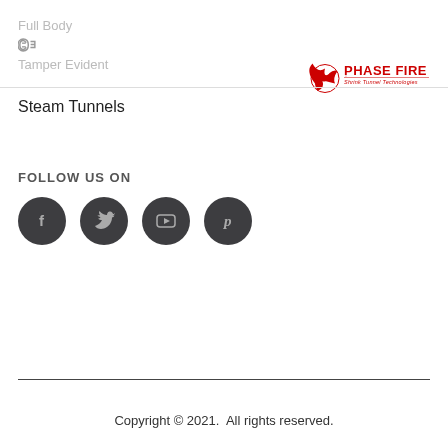Full Body
[Figure (logo): CE mark icon]
Tamper Evident
[Figure (logo): Phase Fire Shrink Tunnel Technologies logo with flame/bird graphic in red and black]
Steam Tunnels
FOLLOW US ON
[Figure (infographic): Four dark circular social media icons: Facebook (f), Twitter (bird), YouTube (play button), Pinterest (p)]
Copyright © 2021. All rights reserved.